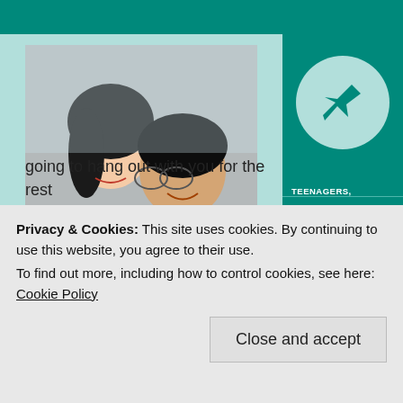[Figure (photo): Two young people (a woman and a man) smiling and looking at a smartphone together]
Photo by mentatdgt on Pexels.com
From across the lunchroom, above all the other hubbub, a suspicious sound catches my ear. My middle school
JANUARY 23, 2019
SUE ACUNA
TIPS AND TRICKS, UNCATEGORIZED
DEALING WITH TEENS, MIDDLE SCHOOL, MIDDLE SCHOOL ATTITUDE, PARENTING
TEENAGERS,
Privacy & Cookies: This site uses cookies. By continuing to use this website, you agree to their use.
To find out more, including how to control cookies, see here: Cookie Policy
Close and accept
going to hang out with you for the rest